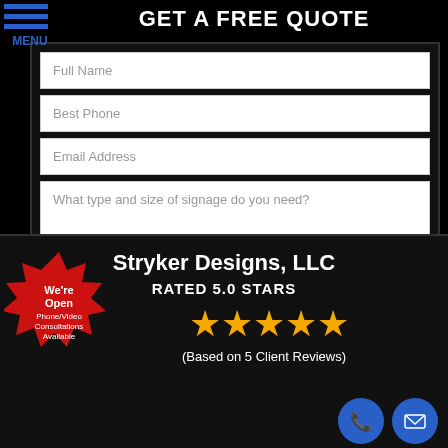GET A FREE QUOTE
Full Name
Best Phone
Email Address
What type and size of signage do you need?
REQUEST MY QUOTE
Stryker Designs, LLC
RATED 5.0 STARS
[Figure (infographic): Five gold star rating icons]
(Based on 5 Client Reviews)
[Figure (infographic): Red starburst badge with text: We're Open Phone/Video Consultations Available]